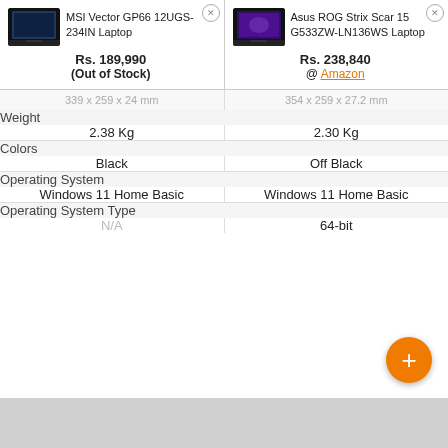[Figure (screenshot): Screenshot of a laptop comparison page showing MSI Vector GP66 12UGS-234IN Laptop vs Asus ROG Strix Scar 15 G533ZW-LN136WS Laptop with specs including weight, colors, operating system, and operating system type.]
| Specification | MSI Vector GP66 12UGS-234IN Laptop | Asus ROG Strix Scar 15 G533ZW-LN136WS Laptop |
| --- | --- | --- |
| Price | Rs. 189,990 (Out of Stock) | Rs. 238,840 @ Amazon |
| Dimensions | 339 x 259 x 24 mm | 354 x 259 x 27.2 mm |
| Weight | 2.38 Kg | 2.30 Kg |
| Colors | Black | Off Black |
| Operating System | Windows 11 Home Basic | Windows 11 Home Basic |
| Operating System Type | N/A | 64-bit |